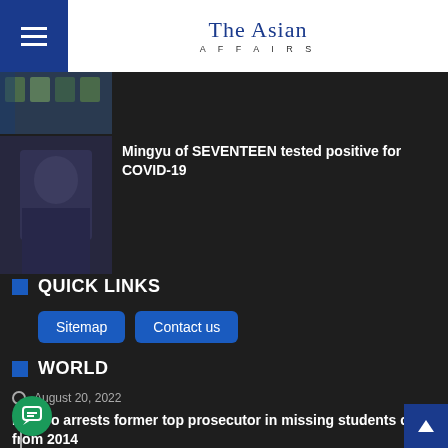The Asian Affairs
[Figure (photo): Thumbnail photo showing protest signs with faces, green and dark tones]
[Figure (photo): Photo of a young man in a dark suit against a blue-grey background]
Mingyu of SEVENTEEN tested positive for COVID-19
QUICK LINKS
Sitemap
Contact us
WORLD
August 20, 2022
Mexico arrests former top prosecutor in missing students case from 2014